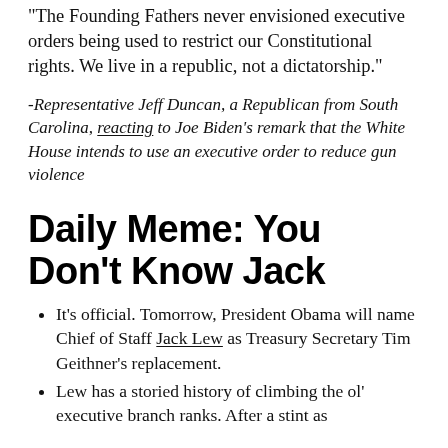"The Founding Fathers never envisioned executive orders being used to restrict our Constitutional rights. We live in a republic, not a dictatorship."
-Representative Jeff Duncan, a Republican from South Carolina, reacting to Joe Biden's remark that the White House intends to use an executive order to reduce gun violence
Daily Meme: You Don't Know Jack
It's official. Tomorrow, President Obama will name Chief of Staff Jack Lew as Treasury Secretary Tim Geithner's replacement.
Lew has a storied history of climbing the ol' executive branch ranks. After a stint as